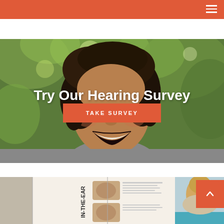[Figure (photo): A smiling woman with curly hair outdoors with green trees in the background, laughing joyfully.]
Try Our Hearing Survey
TAKE SURVEY
[Figure (photo): A booklet or brochure showing hearing aid options labeled IN-THE-EAR with images of ears, alongside a photo of a blonde woman.]